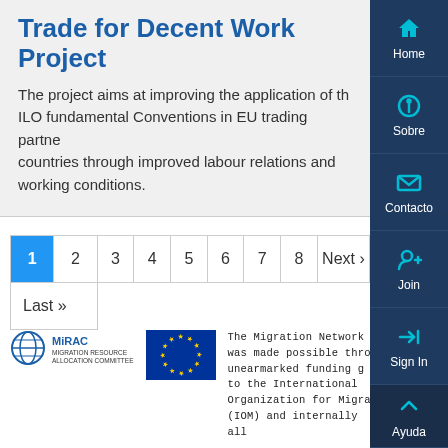Trade for Decent Work Project
The project aims at improving the application of the ILO fundamental Conventions in EU trading partner countries through improved labour relations and working conditions.
1  2  3  4  5  6  7  8  Next › Last »
[Figure (logo): MiRAC - Migration Resource Allocation Committee logo with globe icon]
[Figure (logo): European Union flag with blue background and yellow stars]
The Migration Network was made possible through unearmarked funding given to the International Organization for Migration (IOM) and internally allocated